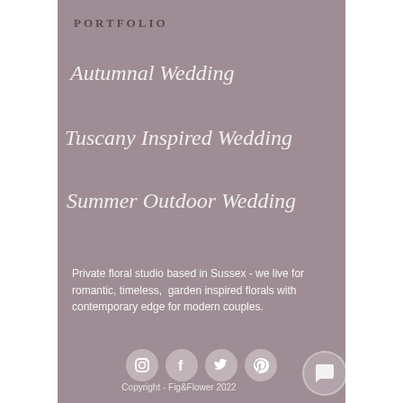PORTFOLIO
Autumnal Wedding
Tuscany Inspired Wedding
Summer Outdoor Wedding
Private floral studio based in Sussex - we live for romantic, timeless,  garden inspired florals with contemporary edge for modern couples.
[Figure (infographic): Row of four social media icons: Instagram, Facebook, Twitter, Pinterest. A chat bubble icon overlapping bottom right.]
Copyright - Fig&Flower 2022